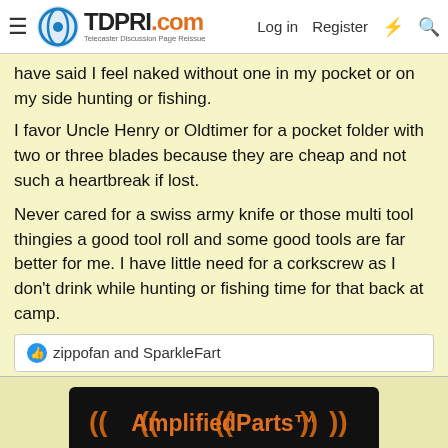TDPRI.com - Telecaster Discussion Page Reissue | Log in | Register
have said I feel naked without one in my pocket or on my side hunting or fishing.
I favor Uncle Henry or Oldtimer for a pocket folder with two or three blades because they are cheap and not such a heartbreak if lost.

Never cared for a swiss army knife or those multi tool thingies a good tool roll and some good tools are far better for me. I have little need for a corkscrew as I don't drink while hunting or fishing time for that back at camp.
👍 zippofan and SparkleFart
[Figure (screenshot): AmplifiedParts advertisement banner - dark background with orange text and parenthesis wave brackets logo]
May 21, 2022    #196
srvy
Tele-Meister